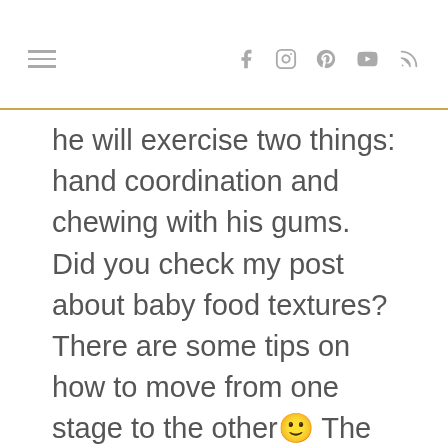≡  f  [instagram]  [pinterest]  [youtube]  [rss]
he will exercise two things: hand coordination and chewing with his gums. Did you check my post about baby food textures? There are some tips on how to move from one stage to the other 🙂 The most important concept is that every baby is different and develops at a different pace. I hope I was helpful! Let me know if you have any question. ciao!! B